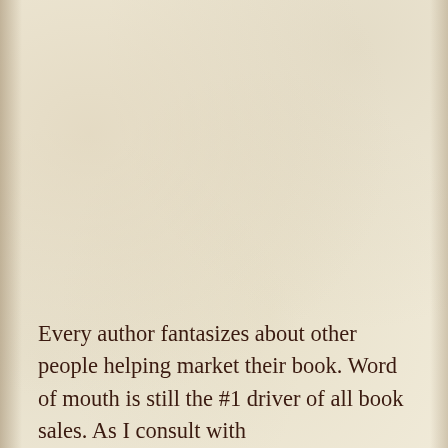Every author fantasizes about other people helping market their book. Word of mouth is still the #1 driver of all book sales. As I consult with